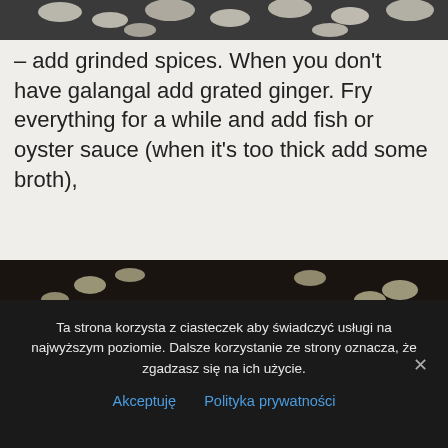[Figure (photo): Top portion of a food photo showing chopped ingredients, cropped at the top of the page]
– add grinded spices. When you don't have galangal add grated ginger. Fry everything for a while and add fish or oyster sauce (when it's too thick add some broth),
[Figure (photo): Close-up photo of ground spices (orange/turmeric colored) mixed with chopped onion or garlic in a dark pan]
Ta strona korzysta z ciasteczek aby świadczyć usługi na najwyższym poziomie. Dalsze korzystanie ze strony oznacza, że zgadzasz się na ich użycie.
Akceptuję   Polityka prywatności